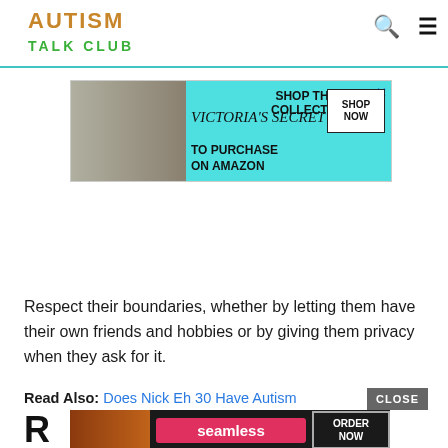AUTISM TALK CLUB
[Figure (other): Victoria's Secret advertisement banner - Shop The Collection to purchase on Amazon]
Respect their boundaries, whether by letting them have their own friends and hobbies or by giving them privacy when they ask for it.
Read Also: Does Nick Eh 30 Have Autism
[Figure (other): Seamless food delivery advertisement banner with Order Now button]